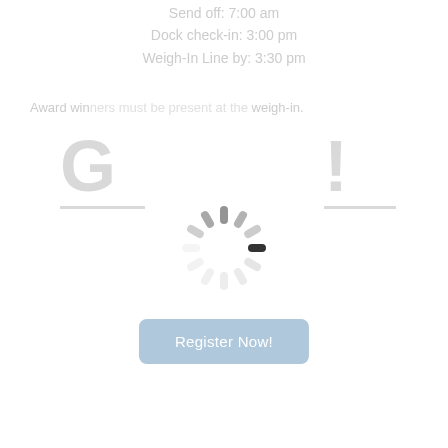Send off: 7:00 am
Dock check-in: 3:00 pm
Weigh-In Line by: 3:30 pm
Award win[ners must be present at] weigh-in.
[Figure (other): Loading spinner icon centered on page, partially obscuring content behind it]
[Figure (other): Letter G icon (gray, large font) with underline bar on left side]
[Figure (other): Exclamation mark icon (gray, large font) with underline bar on right side]
Register Now!